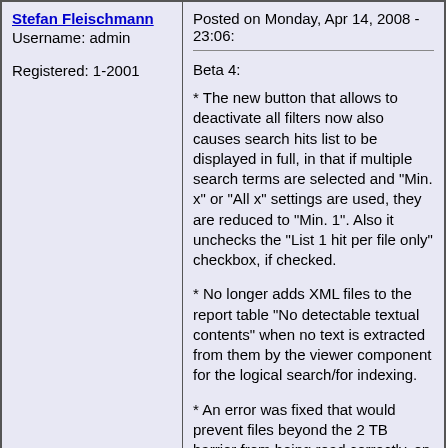Stefan Fleischmann
Username: admin
Registered: 1-2001
Posted on Monday, Apr 14, 2008 - 23:06:
Beta 4:
* The new button that allows to deactivate all filters now also causes search hits list to be displayed in full, in that if multiple search terms are selected and "Min. x" or "All x" settings are used, they are reduced to "Min. 1". Also it unchecks the "List 1 hit per file only" checkbox, if checked.
* No longer adds XML files to the report table "No detectable textual contents" when no text is extracted from them by the viewer component for the logical search/for indexing.
* An error was fixed that would prevent files beyond the 2 TB barrier from being read correctly, on NTFS volumes larger than 2 TB.
* X-Ways Forensics and X-Ways Investigator now notify you when you get nearer to the end of your ...